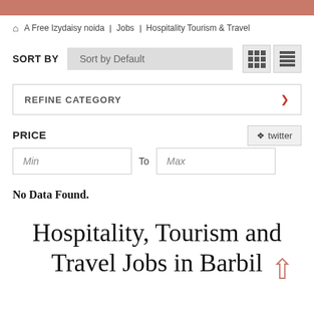A Free Izydaisy noida  Jobs  Hospitality Tourism & Travel
SORT BY  Sort by Default
REFINE CATEGORY
PRICE
Min  To  Max
No Data Found.
Hospitality, Tourism and Travel Jobs in Barbil